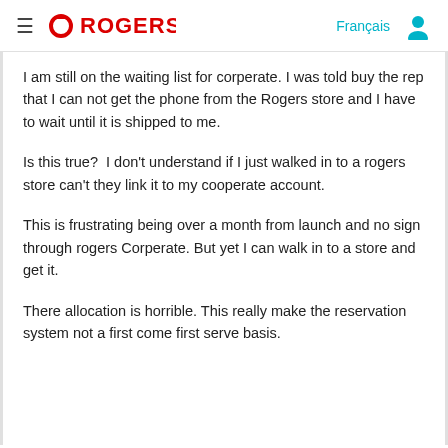≡ ROGERS. Français [user icon]
I am still on the waiting list for corperate. I was told buy the rep that I can not get the phone from the Rogers store and I have to wait until it is shipped to me.
Is this true?  I don't understand if I just walked in to a rogers store can't they link it to my cooperate account.
This is frustrating being over a month from launch and no sign through rogers Corperate. But yet I can walk in to a store and get it.
There allocation is horrible. This really make the reservation system not a first come first serve basis.